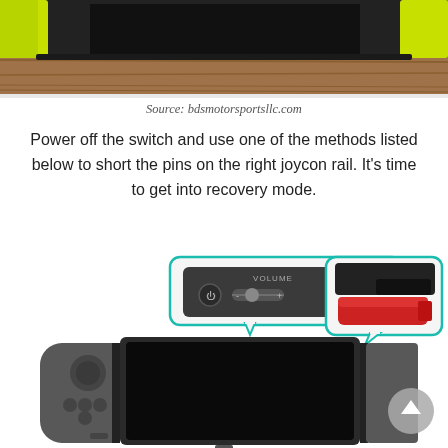[Figure (photo): Top portion of a Nintendo Switch with neon yellow-green Joy-Con visible, placed on a wooden surface.]
Source: bdsmotorsportsllc.com
Power off the switch and use one of the methods listed below to short the pins on the right joycon rail. It's time to get into recovery mode.
[Figure (illustration): Illustration of a Nintendo Switch console with two callout boxes: left callout shows the top buttons/volume controls (highlighted with a teal border), right callout shows a red RCM jig connector near the right rail (highlighted with a teal border). A scroll-to-top circular button appears in the bottom right.]